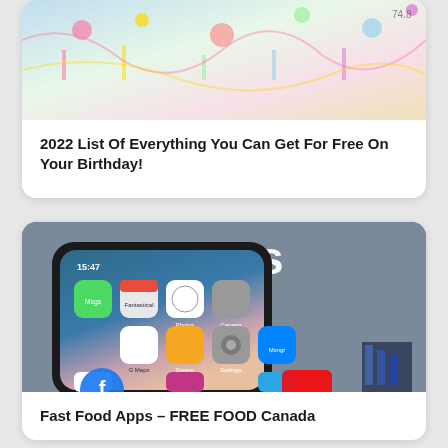[Figure (photo): Colorful birthday-themed image at top of first card, partially cropped]
2022 List Of Everything You Can Get For Free On Your Birthday!
[Figure (photo): Photo of a smartphone showing iPhone home screen with various apps (Messages, Fantastical, Photos, Camera, Settings, Google Maps, Swarm, Messenger, Instagram, Assistant, Telegram, Facebook, YouTube). Text 'Apps' overlaid at top of image.]
Fast Food Apps – FREE FOOD Canada